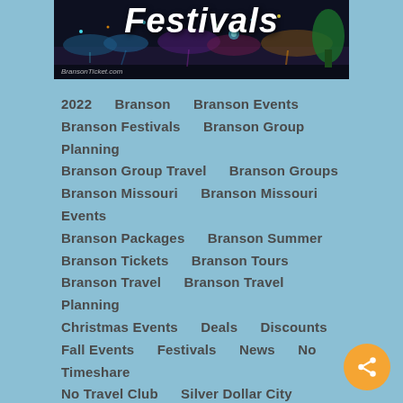[Figure (photo): Night festival scene with colorful lights reflected on water, dark sky background with illuminated trees and crowd. BransonTicket.com watermark visible.]
Festivals
2022   Branson   Branson Events
Branson Festivals   Branson Group Planning
Branson Group Travel   Branson Groups
Branson Missouri   Branson Missouri Events
Branson Packages   Branson Summer
Branson Tickets   Branson Tours
Branson Travel   Branson Travel Planning
Christmas Events   Deals   Discounts
Fall Events   Festivals   News   No Timeshare
No Travel Club   Silver Dollar City
Spring Events   Summer Events   Tickets
Travel   Travel Agents   Travel Guide